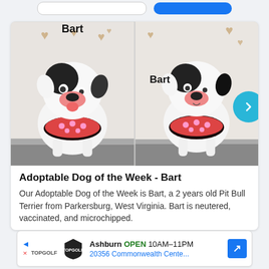[Figure (photo): Two side-by-side photos of a white and black Pit Bull Terrier named Bart wearing a red/black floral bandana, posed in front of a backdrop with paper heart decorations. Left photo shows Bart facing forward with tongue out, labeled 'Bart' at top. Right photo shows Bart standing more formally, labeled 'Bart' in the middle.]
Adoptable Dog of the Week - Bart
Our Adoptable Dog of the Week is Bart, a 2 years old Pit Bull Terrier from Parkersburg, West Virginia. Bart is neutered, vaccinated, and microchipped.
[Figure (screenshot): Topgolf advertisement banner showing Ashburn location, OPEN 10AM-11PM, 20356 Commonwealth Cente... with navigation arrow icon]